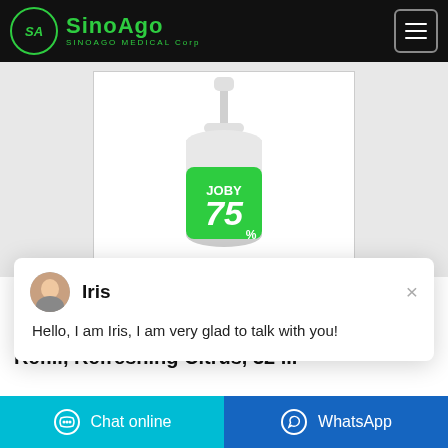SinoAgo SINOAGO MEDICAL Corp
[Figure (photo): A pump bottle of hand soap with green label showing 'JOBY 75%' branding]
Iris
Hello, I am Iris, I am very glad to talk with you!
Softsoap® Liquid Hand Soap Refill, Refreshing Citrus, 32 ...
Chat online | WhatsApp